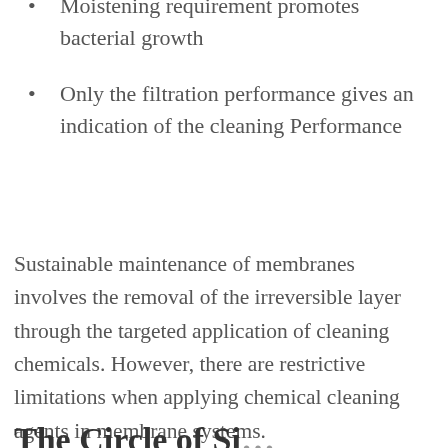Moistening requirement promotes bacterial growth
Only the filtration performance gives an indication of the cleaning Performance
Sustainable maintenance of membranes involves the removal of the irreversible layer through the targeted application of cleaning chemicals. However, there are restrictive limitations when applying chemical cleaning agents in membrane systems.
The Circle of Si...